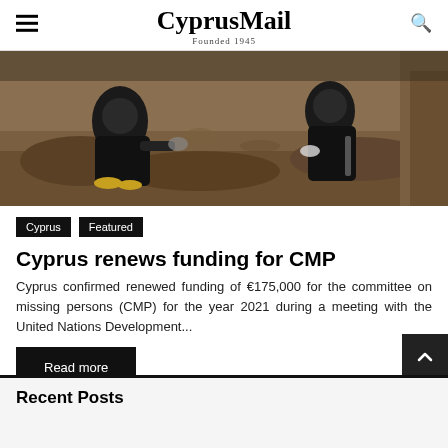CyprusMail — Founded 1945
[Figure (photo): People excavating/digging in muddy soil, an archaeological or forensic dig scene with dark-clothed figures and earth.]
Cyprus  Featured
Cyprus renews funding for CMP
Cyprus confirmed renewed funding of €175,000 for the committee on missing persons (CMP) for the year 2021 during a meeting with the United Nations Development...
Read more
Recent Posts